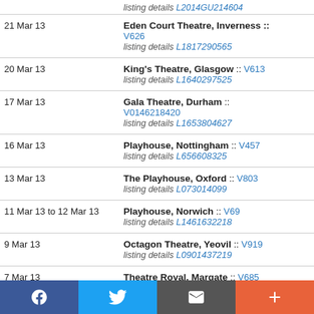| Date | Venue |
| --- | --- |
|  | listing details L2014GU214604 |
| 21 Mar 13 | Eden Court Theatre, Inverness :: V626
listing details L1817290565 |
| 20 Mar 13 | King's Theatre, Glasgow :: V613
listing details L1640297525 |
| 17 Mar 13 | Gala Theatre, Durham :: V0146218420
listing details L1653804627 |
| 16 Mar 13 | Playhouse, Nottingham :: V457
listing details L656608325 |
| 13 Mar 13 | The Playhouse, Oxford :: V803
listing details L073014099 |
| 11 Mar 13 to 12 Mar 13 | Playhouse, Norwich :: V69
listing details L1461632218 |
| 9 Mar 13 | Octagon Theatre, Yeovil :: V919
listing details L0901437219 |
| 7 Mar 13 | Theatre Royal, Margate :: V685
listing details L01039150644 |
[Figure (other): Social media share bar with Facebook, Twitter, email, and plus buttons]